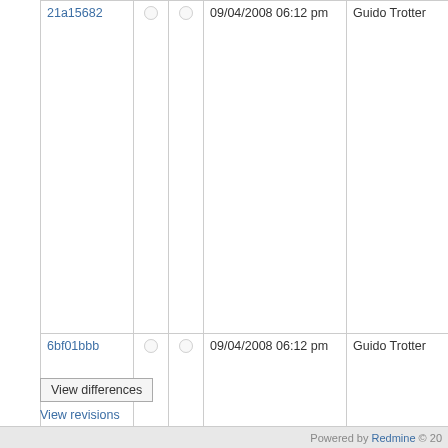| Hash |  |  | Date | Author | Comment |
| --- | --- | --- | --- | --- | --- |
| 21a15682 |  |  | 09/04/2008 06:12 pm | Guido Trotter | Paralleliza L
Reviewed-by |
| 6bf01bbb |  |  | 09/04/2008 06:12 pm | Guido Trotter | Parallelize L
Reviewed-by |
| 895ecd9c |  |  | 09/04/2008 06:12 pm | Guido Trotter | LUQueryExp
It turns out t
in fact, a val
would have
Reviewed-by |
| 204f2086 |  |  | 09/04/2008 06:11 pm | Guido Trotter | s/Chain(Op0
Parallel opo
though that
for querying |
| b91a34a5 |  |  | 09/04/2008 06:11 pm | Guido Trotter | Fix wrong in
Reviewed-by |
| d0c11cf7 |  |  | 09/04/2008 05:53 pm | Alexander Schreiber | Merge r1607
Use a defau
Reviewed-by |
| 3fb1e1c5 |  |  | 09/02/2008 03:57 pm | Alexander Schreiber | merge r1568
Add more fie
Reviewed-by |
View differences
View revisions
Powered by Redmine © 20